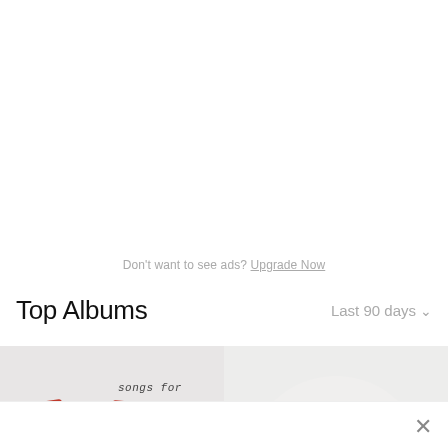Don't want to see ads? Upgrade Now
Top Albums
Last 90 days
[Figure (photo): Two album covers side by side. Left album shows scrabble-style letter tiles spelling out letters with 'songs for' handwritten text above. Right album shows a soft white dome/mound shape on a light grey background.]
×